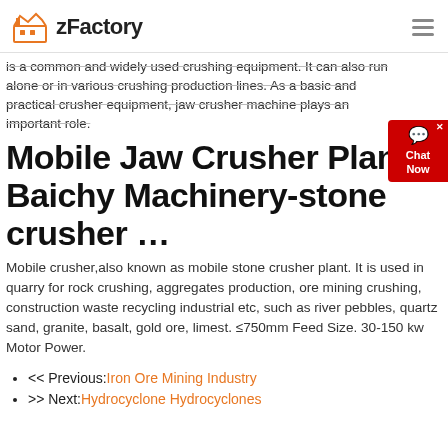zFactory
is a common and widely used crushing equipment. It can also run alone or in various crushing production lines. As a basic and practical crusher equipment, jaw crusher machine plays an important role.
Mobile Jaw Crusher Plant - Baichy Machinery-stone crusher …
Mobile crusher,also known as mobile stone crusher plant. It is used in quarry for rock crushing, aggregates production, ore mining crushing, construction waste recycling industrial etc, such as river pebbles, quartz sand, granite, basalt, gold ore, limest. ≤750mm Feed Size. 30-150 kw Motor Power.
<< Previous:Iron Ore Mining Industry
>> Next:Hydrocyclone Hydrocyclones